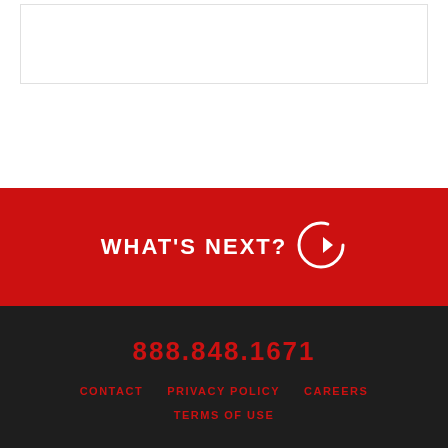[Figure (other): White section with a bordered white box at the top of the page]
WHAT'S NEXT?
888.848.1671
CONTACT   PRIVACY POLICY   CAREERS   TERMS OF USE